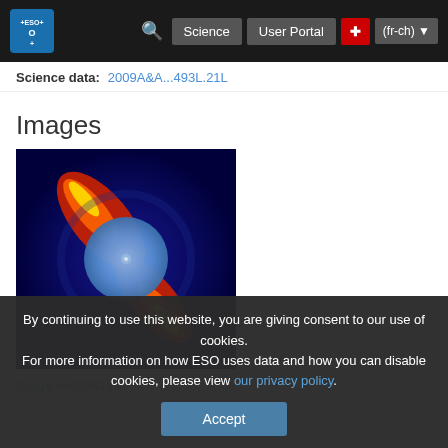ESO | Science | User Portal | (fr-ch)
Science data: 2009A&A...493L.21L
Images
[Figure (photo): False-color astronomical image of a circumstellar disk (beta Pictoris or similar), showing a blue circular coronagraph blocking central star, with bright red-yellow-orange jet-like disk extensions diagonally on dark blue background.]
Image eso0842a
By continuing to use this website, you are giving consent to our use of cookies.
For more information on how ESO uses data and how you can disable cookies, please view our privacy policy.